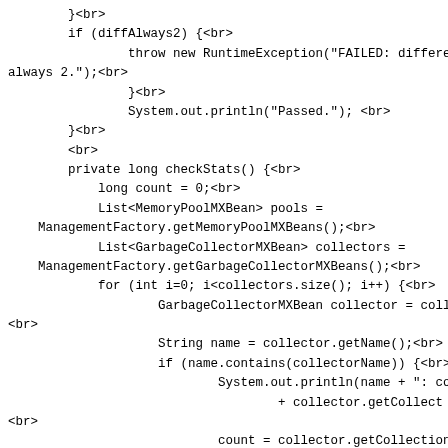}<br>
    if (diffAlways2) {<br>
            throw new RuntimeException("FAILED: differenc
always 2.");<br>
            }<br>
            System.out.println("Passed."); <br>
    }<br>
    <br>
    private long checkStats() {<br>
        long count = 0;<br>
        List<MemoryPoolMXBean> pools =
ManagementFactory.getMemoryPoolMXBeans();<br>
        List<GarbageCollectorMXBean> collectors =
ManagementFactory.getGarbageCollectorMXBeans();<br>
        for (int i=0; i<collectors.size(); i++) {<br>
                GarbageCollectorMXBean collector = collectors
<br>
                String name = collector.getName();<br>
                if (name.contains(collectorName)) {<br>
                        System.out.println(name + ": collection c
                                + collector.getCollect
<br>
                        count = collector.getCollectionCount();
<br>
                }<br>
            }<br>
            return count;<br>
    }<br>
    <br>
    }<br>